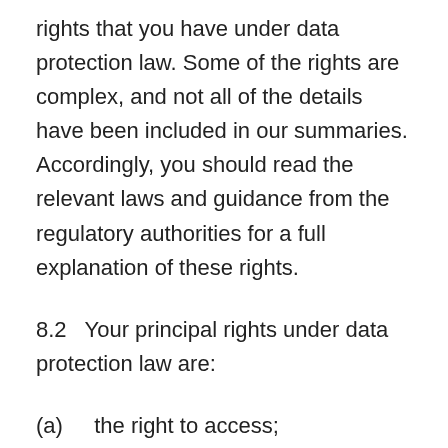rights that you have under data protection law. Some of the rights are complex, and not all of the details have been included in our summaries. Accordingly, you should read the relevant laws and guidance from the regulatory authorities for a full explanation of these rights.
8.2   Your principal rights under data protection law are:
(a)   the right to access;
(b)   the right to rectification;